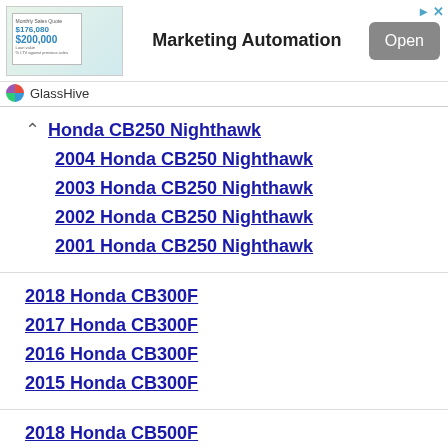[Figure (screenshot): Advertisement banner for GlassHive Marketing Automation with an image showing financial documents, a bold 'Marketing Automation' heading, an 'Open' button, and GlassHive branding at bottom.]
Honda CB250 Nighthawk
2004 Honda CB250 Nighthawk
2003 Honda CB250 Nighthawk
2002 Honda CB250 Nighthawk
2001 Honda CB250 Nighthawk
2018 Honda CB300F
2017 Honda CB300F
2016 Honda CB300F
2015 Honda CB300F
2018 Honda CB500F
2017 Honda CB500F
2016 Honda CB500F
2015 Honda CB500F